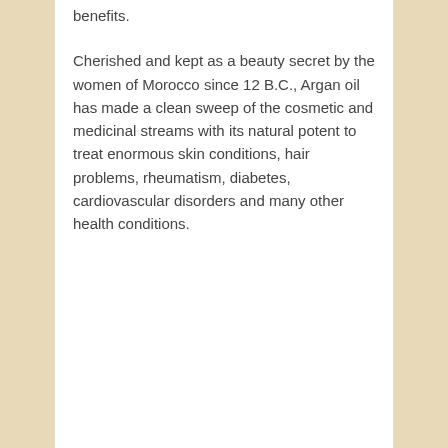benefits.
Cherished and kept as a beauty secret by the women of Morocco since 12 B.C., Argan oil has made a clean sweep of the cosmetic and medicinal streams with its natural potent to treat enormous skin conditions, hair problems, rheumatism, diabetes, cardiovascular disorders and many other health conditions.